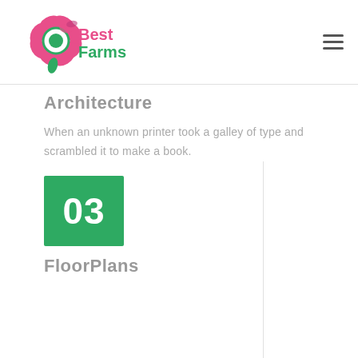Best Farms logo and navigation
Architecture
When an unknown printer took a galley of type and scrambled it to make a book.
Read More →
[Figure (other): Green box with number 03]
FloorPlans